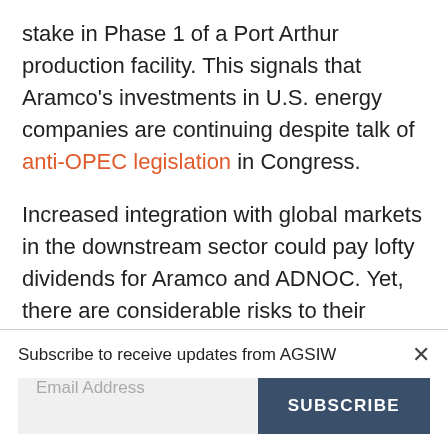stake in Phase 1 of a Port Arthur production facility. This signals that Aramco's investments in U.S. energy companies are continuing despite talk of anti-OPEC legislation in Congress.

Increased integration with global markets in the downstream sector could pay lofty dividends for Aramco and ADNOC. Yet, there are considerable risks to their success. Should
Subscribe to receive updates from AGSIW
Email Address  SUBSCRIBE